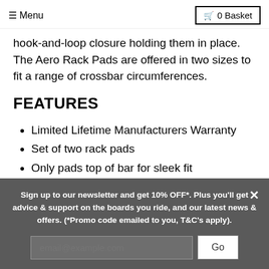☰ Menu   🛒 0 Basket
hook-and-loop closure holding them in place. The Aero Rack Pads are offered in two sizes to fit a range of crossbar circumferences.
FEATURES
Limited Lifetime Manufacturers Warranty
Set of two rack pads
Only pads top of bar for sleek fit
Non fading UV resistant 600D polyester material
Hook and loop closure
Sign up to our newsletter and get 10% OFF*. Plus you'll get advice & support on the boards you ride, and our latest news & offers. (*Promo code emailed to you, T&C's apply).